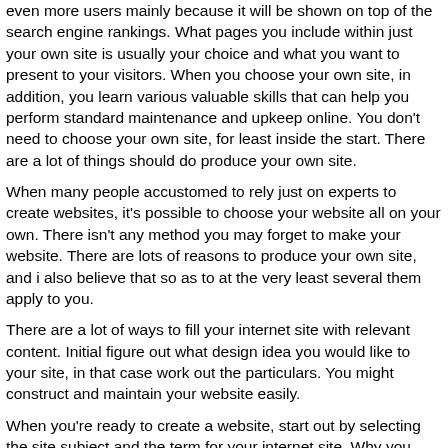even more users mainly because it will be shown on top of the search engine rankings. What pages you include within just your own site is usually your choice and what you want to present to your visitors. When you choose your own site, in addition, you learn various valuable skills that can help you perform standard maintenance and upkeep online. You don't need to choose your own site, for least inside the start. There are a lot of things should do produce your own site.
When many people accustomed to rely just on experts to create websites, it's possible to choose your website all on your own. There isn't any method you may forget to make your website. There are lots of reasons to produce your own site, and i also believe that so as to at the very least several them apply to you.
There are a lot of ways to fill your internet site with relevant content. Initial figure out what design idea you would like to your site, in that case work out the particulars. You might construct and maintain your website easily.
When you're ready to create a website, start out by selecting the site subject and the term for your internet site. Why you need to create your own site is a question Now i'm often asked, usually by beginners which might be attempting to commence an